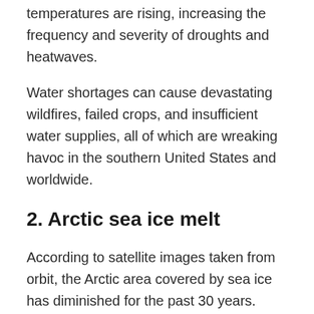temperatures are rising, increasing the frequency and severity of droughts and heatwaves.
Water shortages can cause devastating wildfires, failed crops, and insufficient water supplies, all of which are wreaking havoc in the southern United States and worldwide.
2. Arctic sea ice melt
According to satellite images taken from orbit, the Arctic area covered by sea ice has diminished for the past 30 years.
The Arctic ice sheet expands in the winter with less sunshine and declines in the summer when the...